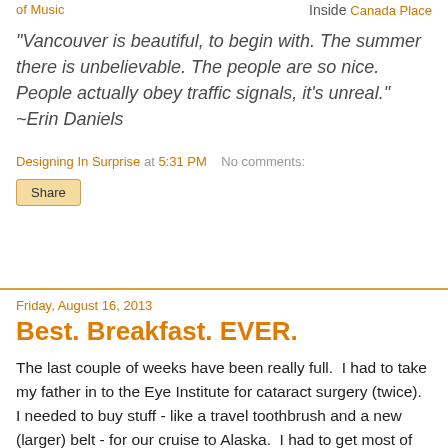of Music   Inside Canada Place
"Vancouver is beautiful, to begin with. The summer there is unbelievable. The people are so nice. People actually obey traffic signals, it's unreal." ~Erin Daniels
Designing In Surprise at 5:31 PM   No comments:
Share
Friday, August 16, 2013
Best. Breakfast. EVER.
The last couple of weeks have been really full.  I had to take my father in to the Eye Institute for cataract surgery (twice).  I needed to buy stuff - like a travel toothbrush and a new (larger) belt - for our cruise to Alaska.  I had to get most of the month's work for the church done (including the layout and text for the monthly newsletter) in the two weeks before leaving so I wouldn't have to email it all in.  At last, however